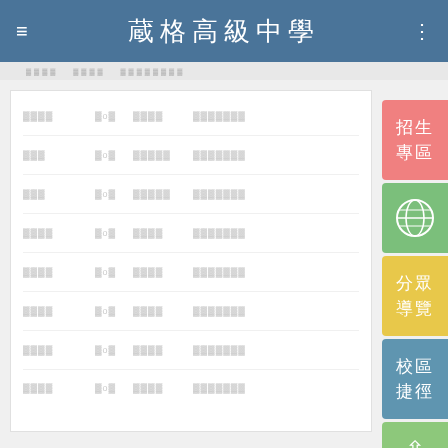蔵格高級中學
[Figure (screenshot): School website mobile view with navigation header showing 蔵格高級中學, a table list of rows with placeholder text, and side navigation buttons including 招生專區, globe icon, 分眾導覽, 校區捷徑, and scroll-up button]
招生專區
分眾導覽
校區捷徑